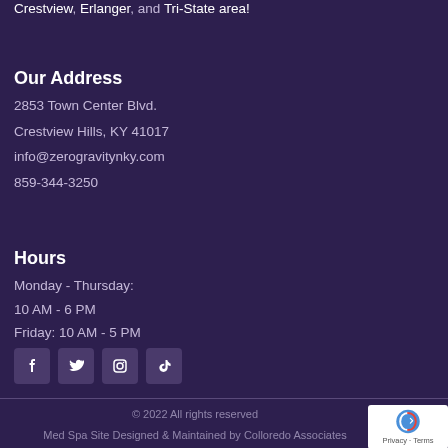Crestview, Erlanger, and Tri-State area!
Our Address
2853 Town Center Blvd.
Crestview Hills, KY 41017
info@zerogravitynky.com
859-344-3250
Hours
Monday - Thursday:
10 AM - 6 PM
Friday: 10 AM - 5 PM
[Figure (infographic): Social media icons: Facebook, Twitter, Instagram, TikTok]
© 2022 All rights reserved
Med Spa Site Designed & Maintained by Colloredo Associates